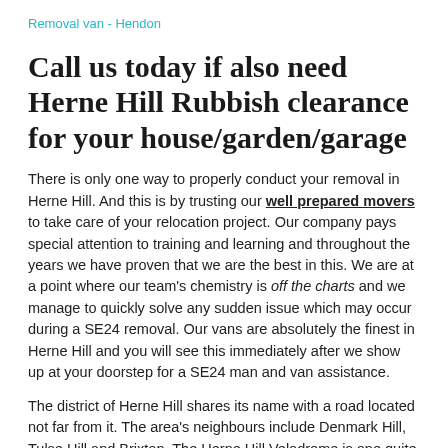Removal van - Hendon
Call us today if also need Herne Hill Rubbish clearance for your house/garden/garage
There is only one way to properly conduct your removal in Herne Hill. And this is by trusting our well prepared movers to take care of your relocation project. Our company pays special attention to training and learning and throughout the years we have proven that we are the best in this. We are at a point where our team's chemistry is off the charts and we manage to quickly solve any sudden issue which may occur during a SE24 removal. Our vans are absolutely the finest in Herne Hill and you will see this immediately after we show up at your doorstep for a SE24 man and van assistance.
The district of Herne Hill shares its name with a road located not far from it. The area's neighbours include Denmark Hill, Tulse Hill and Brixton. The Herne Hill Velodrome is one quite interesting facility in SE24. It was used during the 1948 Olympics